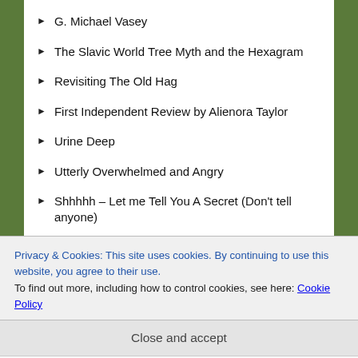G. Michael Vasey
The Slavic World Tree Myth and the Hexagram
Revisiting The Old Hag
First Independent Review by Alienora Taylor
Urine Deep
Utterly Overwhelmed and Angry
Shhhhh – Let me Tell You A Secret (Don't tell anyone)
Love Me or Hate Me?
Review, reviews, reviews
Chasing the Shaman - Reviewed by Sue Vincent
Privacy & Cookies: This site uses cookies. By continuing to use this website, you agree to their use. To find out more, including how to control cookies, see here: Cookie Policy
Close and accept
First Name: